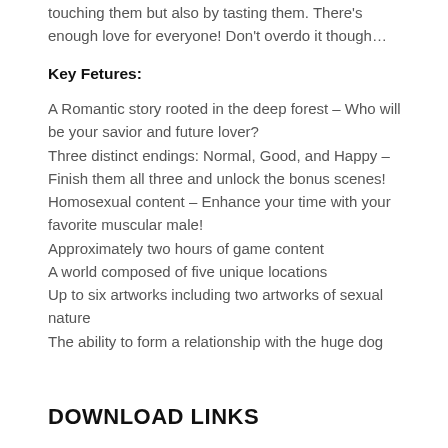touching them but also by tasting them. There's enough love for everyone! Don't overdo it though…
Key Fetures:
A Romantic story rooted in the deep forest – Who will be your savior and future lover?
Three distinct endings: Normal, Good, and Happy – Finish them all three and unlock the bonus scenes!
Homosexual content – Enhance your time with your favorite muscular male!
Approximately two hours of game content
A world composed of five unique locations
Up to six artworks including two artworks of sexual nature
The ability to form a relationship with the huge dog
DOWNLOAD LINKS